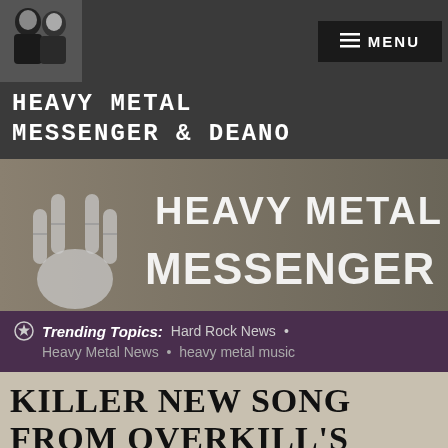HEAVY METAL MESSENGER & DEANO — MENU
HEAVY METAL MESSENGER & DEANO
[Figure (photo): Heavy Metal Messenger banner with skeleton hand throwing devil horns and large text reading HEAVY METAL MESSENGER]
⊛ Trending Topics: Hard Rock News • Heavy Metal News • heavy metal music
KILLER NEW SONG FROM OVERKILL'S LATEST RIGHT HERE!